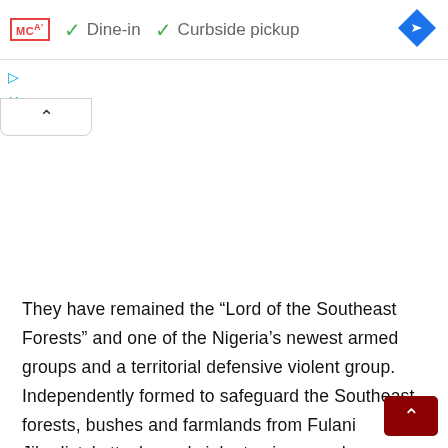[Figure (screenshot): UI bar showing MCA logo, checkmarks for Dine-in and Curbside pickup, and a blue navigation diamond icon]
[Figure (screenshot): Collapse/chevron tab UI element]
They have remained the “Lord of the Southeast Forests” and one of the Nigeria’s newest armed groups and a territorial defensive violent group. Independently formed to safeguard the Southeast forests, bushes and farmlands from Fulani Jihadists’ attacks and violent seizure and conversion of sam